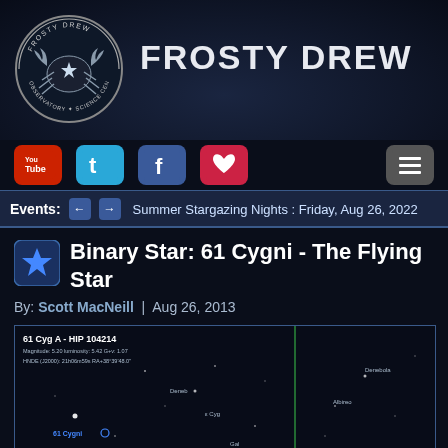[Figure (logo): Frosty Drew Observatory & Science Center circular logo with crab/scorpion illustration on dark background]
FROSTY DREW
[Figure (infographic): Social media icons row: YouTube, Twitter, Facebook, Heart/Favorites, Menu]
Events: ← → Summer Stargazing Nights : Friday, Aug 26, 2022
Binary Star: 61 Cygni - The Flying Star
By: Scott MacNeill | Aug 26, 2013
[Figure (screenshot): Star chart showing 61 Cyg A - HIP 104214 with magnitude info and constellation map on dark background]